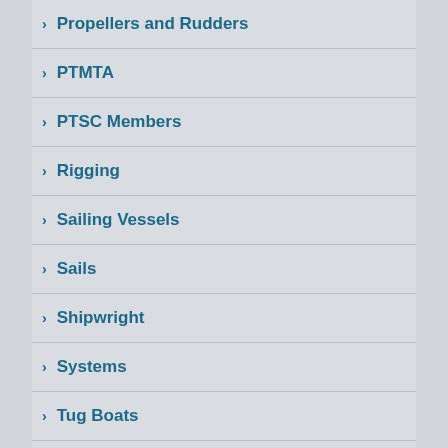Propellers and Rudders
PTMTA
PTSC Members
Rigging
Sailing Vessels
Sails
Shipwright
Systems
Tug Boats
Underwater (partial)